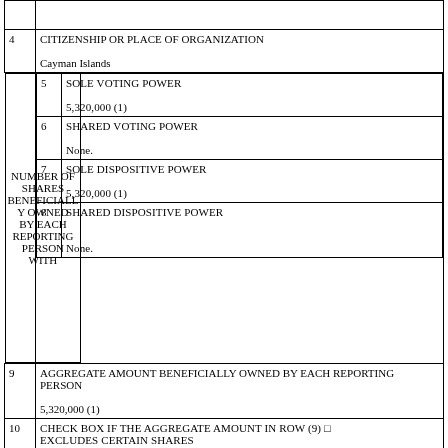|  | CITIZENSHIP OR PLACE OF ORGANIZATION

Cayman Islands |
| NUMBER OF SHARES BENEFICIALLY OWNED BY EACH REPORTING PERSON WITH | 5 | SOLE VOTING POWER

5,320,000 (1)
6 | SHARED VOTING POWER

None.
7 | SOLE DISPOSITIVE POWER

5,320,000 (1)
8 | SHARED DISPOSITIVE POWER

None. |
| 9 | AGGREGATE AMOUNT BENEFICIALLY OWNED BY EACH REPORTING PERSON

5,320,000 (1) |
| 10 | CHECK BOX IF THE AGGREGATE AMOUNT IN ROW (9) □ EXCLUDES CERTAIN SHARES |
| 11 | PERCENT OF CLASS REPRESENTED BY AMOUNT IN ROW (9) |